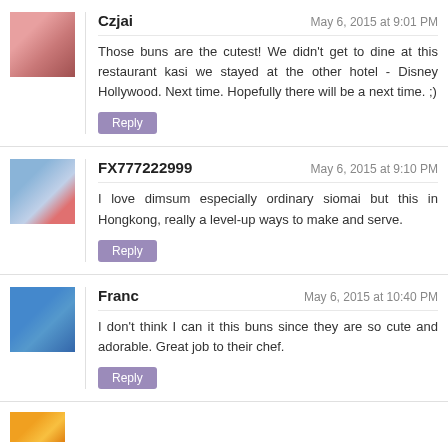Czjai — May 6, 2015 at 9:01 PM
Those buns are the cutest! We didn't get to dine at this restaurant kasi we stayed at the other hotel - Disney Hollywood. Next time. Hopefully there will be a next time. ;)
Reply
FX777222999 — May 6, 2015 at 9:10 PM
I love dimsum especially ordinary siomai but this in Hongkong, really a level-up ways to make and serve.
Reply
Franc — May 6, 2015 at 10:40 PM
I don't think I can it this buns since they are so cute and adorable. Great job to their chef.
Reply